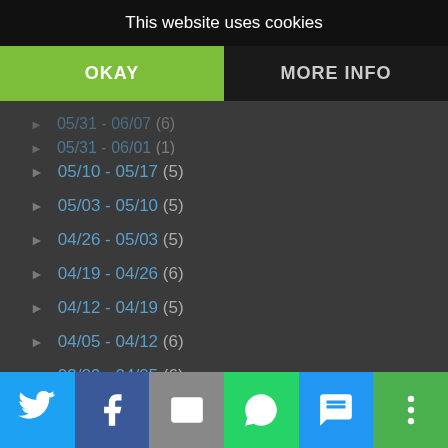This website uses cookies
OKAY
MORE INFO
05/10 - 05/17 (5)
05/03 - 05/10 (5)
04/26 - 05/03 (5)
04/19 - 04/26 (6)
04/12 - 04/19 (5)
04/05 - 04/12 (6)
03/29 - 04/05 (6)
03/22 - 03/29 (6)
03/15 - 03/22 (5)
03/08 - 03/15 (5)
03/01 - 03/08 (5)
02/22 - 03/01 (5)